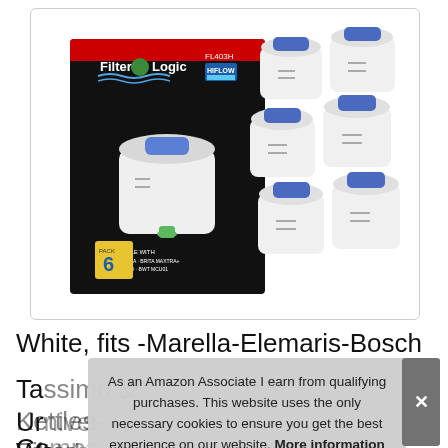[Figure (photo): FilterLogic FL403H water filter cartridges product image. Shows product box on left with a single white filter cartridge displayed, and 6 white filter cartridges stacked on the right side. Box is black with red top stripe and shows 'Compatible with BRITA MAXTRA, BRITA MAXTRA+, BOSCH FILMO, BWT MCU01'. Model number FL403H, HIFLOW label visible.]
White, fits -Marella-Elemaris-Bosch
Tassimo & Kettles- FilterLogic Un... Co... Water Juge
As an Amazon Associate I earn from qualifying purchases. This website uses the only necessary cookies to ensure you get the best experience on our website. More information